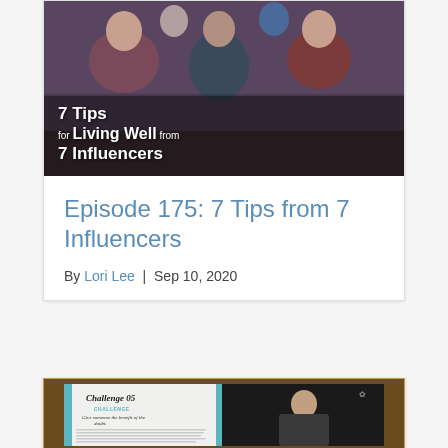[Figure (photo): Group photo of several people at an event, with white text overlay reading '7 Tips for Living Well from 7 Influencers']
Episode 175: 7 Tips from 7 Influencers
By Lori Lee  |  Sep 10, 2020
[Figure (photo): Open book/magazine showing 'Challenge 05' page with text and a photo of a man with beard on the right page]